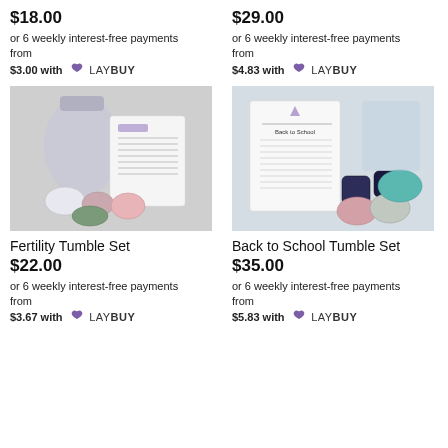$18.00
$29.00
or 6 weekly interest-free payments from $3.00 with LAYBUY
or 6 weekly interest-free payments from $4.83 with LAYBUY
[Figure (photo): Fertility Tumble Set product photo showing crystals and organza bag with information card]
[Figure (photo): Back to School Tumble Set product photo showing multiple crystals and information card]
Fertility Tumble Set
Back to School Tumble Set
$22.00
$35.00
or 6 weekly interest-free payments from $3.67 with LAYBUY
or 6 weekly interest-free payments from $5.83 with LAYBUY